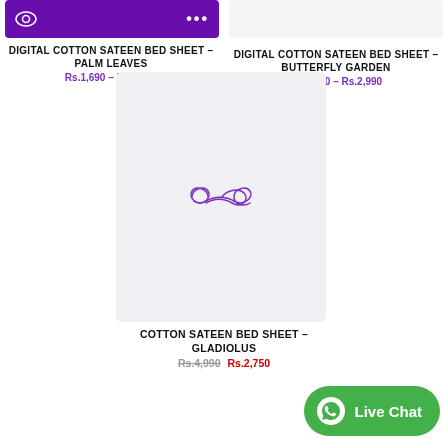[Figure (screenshot): Purple product image card with eye icon and dots menu for Palm Leaves bed sheet]
DIGITAL COTTON SATEEN BED SHEET – PALM LEAVES
Rs.1,690 – Rs.2,990
[Figure (screenshot): Light gray product image card for Butterfly Garden bed sheet]
DIGITAL COTTON SATEEN BED SHEET – BUTTERFLY GARDEN
Rs.1,690 – Rs.2,990
[Figure (screenshot): Light gray product image placeholder with infinity/loop loading icon for Cotton Sateen Gladiolus bed sheet]
COTTON SATEEN BED SHEET – GLADIOLUS
Rs.4,990  Rs.2,750
[Figure (screenshot): Green WhatsApp Live Chat button at bottom right]